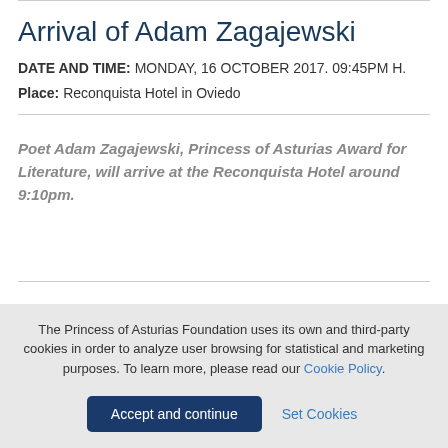Arrival of Adam Zagajewski
DATE AND TIME: MONDAY, 16 OCTOBER 2017. 09:45PM H.
Place: Reconquista Hotel in Oviedo
Poet Adam Zagajewski, Princess of Asturias Award for Literature, will arrive at the Reconquista Hotel around 9:10pm.
The Princess of Asturias Foundation uses its own and third-party cookies in order to analyze user browsing for statistical and marketing purposes. To learn more, please read our Cookie Policy.
Accept and continue
Set Cookies